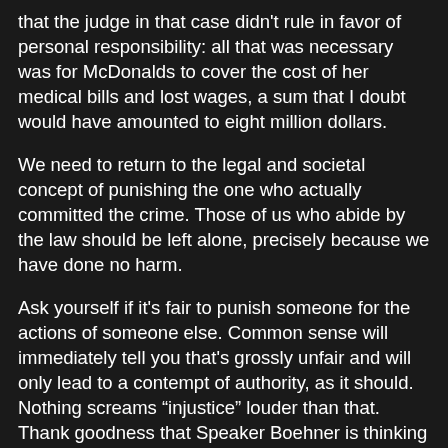that the judge in that case didn't rule in favor of personal responsibility: all that was necessary was for McDonalds to cover the cost of her medical bills and lost wages, a sum that I doubt would have amounted to eight million dollars.
We need to return to the legal and societal concept of punishing the one who actually committed the crime. Those of us who abide by the law should be left alone, precisely because we have done no harm.
Ask yourself if it's fair to punish someone for the actions of someone else. Common sense will immediately tell you that's grossly unfair and will only lead to a contempt of authority, as it should. Nothing screams “injustice” louder than that. Thank goodness that Speaker Boehner is thinking clearly and is already saying that these misguided attempts to restrict the freedom of law-abiding Americans will not be considered under his watch. Thank you, Mr. Speaker
Yet another precept that we should return to is the issue of punishment itself. It should be noted that John Green, the father of nine-year victim Christina Taylor Green, has come